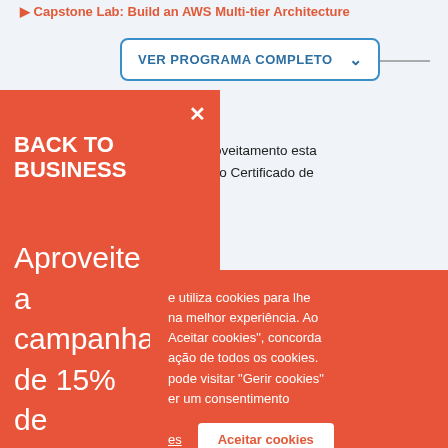Capstone Lab: Build an AWS Multi-tier Architecture
VER PROGRAMA COMPLETO
concluíres com aproveitamento esta mação, para além do Certificado de nbém um m a tua rede obre os
[Figure (screenshot): Red sidebar overlay with BACK TO BUSINESS heading and Aproveite a campanha de 15% de desconto neste curso até 15 text]
BACK TO BUSINESS
Aproveite a campanha de 15% de desconto neste curso até 15
e utiliza cookies para lhe na melhor experiência. Ao Aceitar cookies", concorda ação de todos os cookies. pode visitar "Gerir cookies" er um consentimento
Aceitar cookies
ER